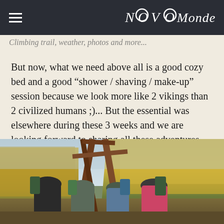NOVO Monde
But now, what we need above all is a good cozy bed and a good “shower / shaving / make-up” session because we look more like 2 vikings than 2 civilized humans ;)... But the essential was elsewhere during these 3 weeks and we are looking forward to sharing all these adventures with you in detail in our next articles ☺ .
[Figure (photo): Four hikers with large backpacks standing in front of a wooden tripod/teepee structure surrounded by autumn trees with yellow and orange foliage]